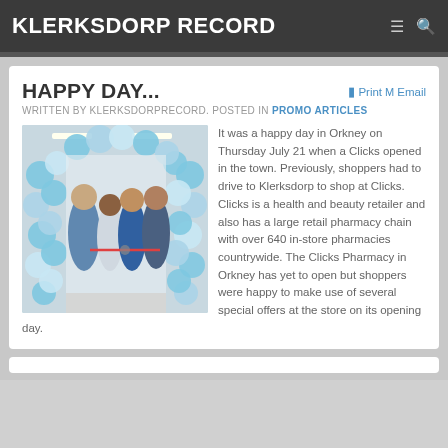KLERKSDORP RECORD
HAPPY DAY...
WRITTEN BY KLERKSDORPRECORD. POSTED IN PROMO ARTICLES
[Figure (photo): People cutting a ribbon at a store opening surrounded by blue and white balloons]
It was a happy day in Orkney on Thursday July 21 when a Clicks opened in the town. Previously, shoppers had to drive to Klerksdorp to shop at Clicks. Clicks is a health and beauty retailer and also has a large retail pharmacy chain with over 640 in-store pharmacies countrywide. The Clicks Pharmacy in Orkney has yet to open but shoppers were happy to make use of several special offers at the store on its opening day.